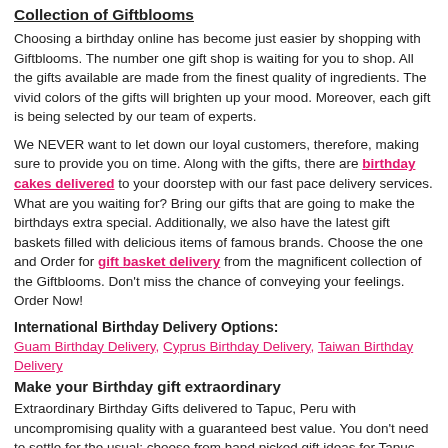Collection of Giftblooms
Choosing a birthday online has become just easier by shopping with Giftblooms. The number one gift shop is waiting for you to shop. All the gifts available are made from the finest quality of ingredients. The vivid colors of the gifts will brighten up your mood. Moreover, each gift is being selected by our team of experts.
We NEVER want to let down our loyal customers, therefore, making sure to provide you on time. Along with the gifts, there are birthday cakes delivered to your doorstep with our fast pace delivery services. What are you waiting for? Bring our gifts that are going to make the birthdays extra special. Additionally, we also have the latest gift baskets filled with delicious items of famous brands. Choose the one and Order for gift basket delivery from the magnificent collection of the Giftblooms. Don't miss the chance of conveying your feelings. Order Now!
International Birthday Delivery Options:
Guam Birthday Delivery, Cyprus Birthday Delivery, Taiwan Birthday Delivery
Make your Birthday gift extraordinary
Extraordinary Birthday Gifts delivered to Tapuc, Peru with uncompromising quality with a guaranteed best value. You don't need to settle for the usual; choose from hand picked gift ideas for Tapuc, Peru using local and national couriers all to delight your recipient.
You may also like :